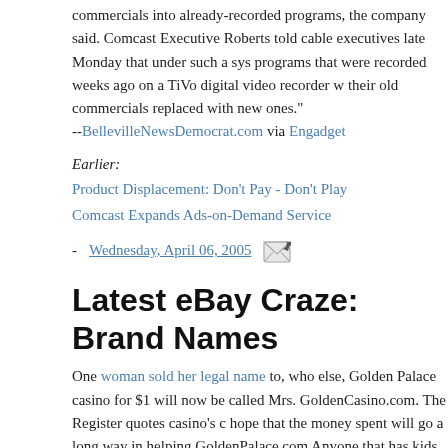commercials into already-recorded programs, the company said. Comcast Executive Roberts told cable executives late Monday that under such a sys- programs that were recorded weeks ago on a TiVo digital video recorder w- their old commercials replaced with new ones."
--BellevilleNewsDemocrat.com via Engadget
Earlier:
Product Displacement: Don't Pay - Don't Play
Comcast Expands Ads-on-Demand Service
- Wednesday, April 06, 2005
Latest eBay Craze: Brand Names
One woman sold her legal name to, who else, Golden Palace casino for $1 will now be called Mrs. GoldenCasino.com. The Register quotes casino's c- hope that the money spent will go a long way in helping GoldenPalace.com Anyone that has kids knows the enormous expense that it requires to provi- We are happy to help GoldenPalace.com make ends meet." (found on AdJa-
No despair, there are quite a few more names for sale: here's one, here's an- another, and one more, for one year (for those on a budget), for two years,